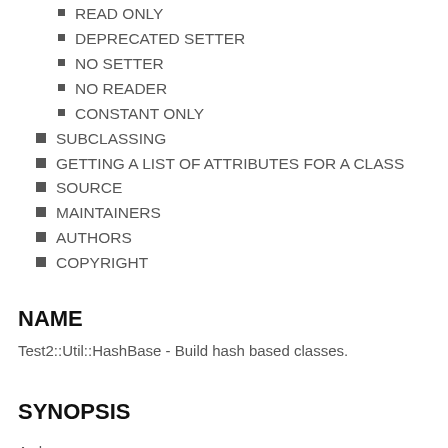READ ONLY
DEPRECATED SETTER
NO SETTER
NO READER
CONSTANT ONLY
SUBCLASSING
GETTING A LIST OF ATTRIBUTES FOR A CLASS
SOURCE
MAINTAINERS
AUTHORS
COPYRIGHT
NAME
Test2::Util::HashBase - Build hash based classes.
SYNOPSIS
A class: